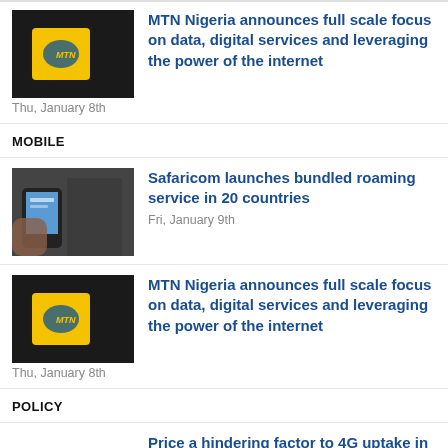[Figure (photo): MTN Nigeria yellow device/modem on dark background]
MTN Nigeria announces full scale focus on data, digital services and leveraging the power of the internet
Thu, January 8th
MOBILE
[Figure (photo): Hands holding mobile phone]
Safaricom launches bundled roaming service in 20 countries
Fri, January 9th
[Figure (photo): MTN Nigeria yellow device/modem on dark background]
MTN Nigeria announces full scale focus on data, digital services and leveraging the power of the internet
Thu, January 8th
POLICY
[Figure (illustration): 4G wireless tower icon logo]
Price a hindering factor to 4G uptake in Rwanda – retailers
Thu, January 8th